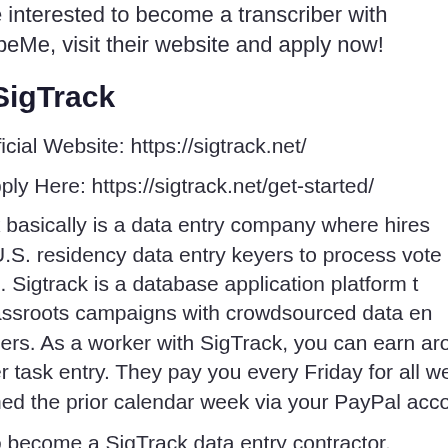e interested to become a transcriber with ibeMe, visit their website and apply now!
SigTrack
fficial Website: https://sigtrack.net/
pply Here: https://sigtrack.net/get-started/
k basically is a data entry company where hires U.S. residency data entry keyers to process vote s. Sigtrack is a database application platform t assroots campaigns with crowdsourced data en cers. As a worker with SigTrack, you can earn aro er task entry. They pay you every Friday for all we ned the prior calendar week via your PayPal acco
o become a SigTrack data entry contractor.